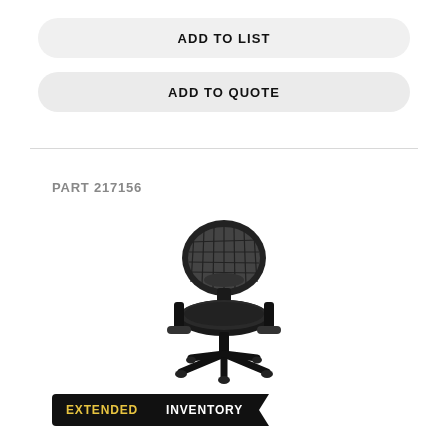ADD TO LIST
ADD TO QUOTE
PART 217156
[Figure (photo): Black ergonomic office chair with mesh back, adjustable armrests, and five-star wheeled base, viewed from a slight angle.]
EXTENDED INVENTORY